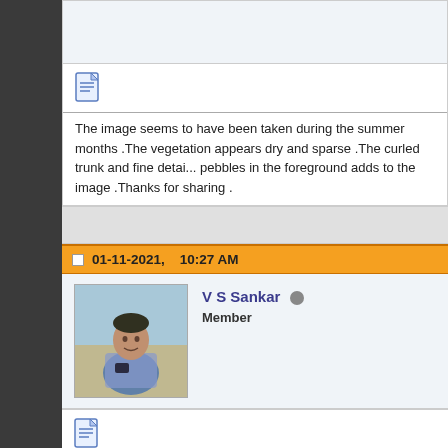[Figure (screenshot): Top portion of a forum post showing a document icon and partial post text area with light gray header]
The image seems to have been taken during the summer months .The vegetation appears dry and sparse .The curled trunk and fine detai... pebbles in the foreground adds to the image .Thanks for sharing .
01-11-2021, 10:27 AM
[Figure (photo): Profile photo of V S Sankar, a young man sitting outdoors]
V S Sankar
Member
I thnk some of the large elephants of India are seen in Jim Corbett... any wild elephants!This one looks like a young one.

Regards

V S Sankar